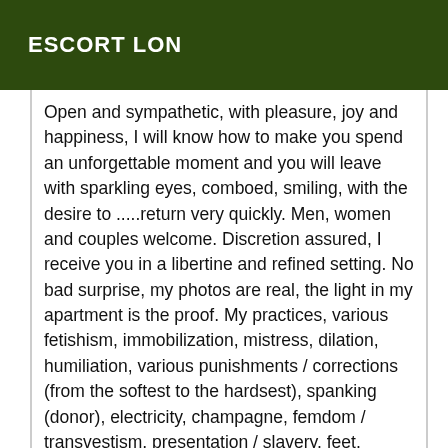ESCORT LON
Open and sympathetic, with pleasure, joy and happiness, I will know how to make you spend an unforgettable moment and you will leave with sparkling eyes, comboed, smiling, with the desire to .....return very quickly. Men, women and couples welcome. Discretion assured, I receive you in a libertine and refined setting. No bad surprise, my photos are real, the light in my apartment is the proof. My practices, various fetishism, immobilization, mistress, dilation, humiliation, various punishments / corrections (from the softest to the hardsest), spanking (donor), electricity, champagne, femdom / transvestism, presentation / slavery, feet, golden Swiss (donor). Role plays, fantasies, erotic massages, anal (active and passive) and prostate massage, GFE, tablet, intimate hair removal, anal sex (active and passive), 69, sucking (with and without condom) cock and testicles, deep throat, multiple ejaculations, extraball, I send the following in SMS I